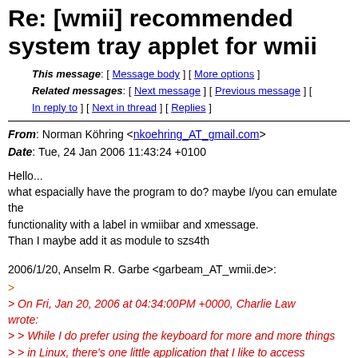Re: [wmii] recommended system tray applet for wmii
This message: [ Message body ] [ More options ]
Related messages: [ Next message ] [ Previous message ] [ In reply to ] [ Next in thread ] [ Replies ]
From: Norman Köhring <nkoehring_AT_gmail.com>
Date: Tue, 24 Jan 2006 11:43:24 +0100
Hello...
what espacially have the program to do? maybe I/you can emulate the
functionality with a label in wmiibar and xmessage.
Than I maybe add it as module to szs4th
2006/1/20, Anselm R. Garbe <garbeam_AT_wmii.de>:
>
> On Fri, Jan 20, 2006 at 04:34:00PM +0000, Charlie Law wrote:
> > While I do prefer using the keyboard for more and more things
> > in Linux, there's one little application that I like to access